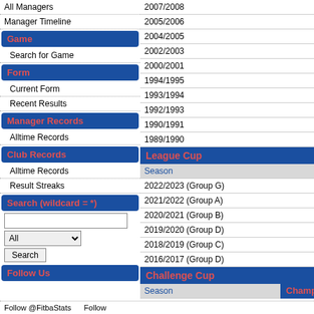All Managers
Manager Timeline
Game
Search for Game
Form
Current Form
Recent Results
Manager Records
Alltime Records
Club Records
Alltime Records
Result Streaks
Search (wildcard = *)
| Season |
| --- |
| 2007/2008 |
| 2005/2006 |
| 2004/2005 |
| 2002/2003 |
| 2000/2001 |
| 1994/1995 |
| 1993/1994 |
| 1992/1993 |
| 1990/1991 |
| 1989/1990 |
League Cup
| Season |
| --- |
| 2022/2023 (Group G) |
| 2021/2022 (Group A) |
| 2020/2021 (Group B) |
| 2019/2020 (Group D) |
| 2018/2019 (Group C) |
| 2016/2017 (Group D) |
Challenge Cup
| Season |
| --- |
| 2021/2022 |
| 2019/2020 |
| 2018/2019 |
| 2017/2018 |
| 2016/2017 |
Championship Play-Offs
Follow @FitbaStats   Follow